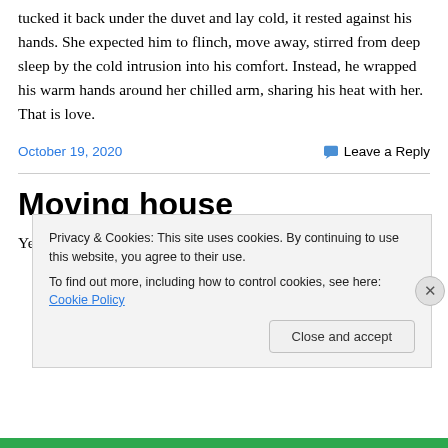tucked it back under the duvet and lay cold, it rested against his hands. She expected him to flinch, move away, stirred from deep sleep by the cold intrusion into his comfort. Instead, he wrapped his warm hands around her chilled arm, sharing his heat with her. That is love.
October 19, 2020
Leave a Reply
Moving house
Yes….at long last. I'm back to blogging. There hasn't been
Privacy & Cookies: This site uses cookies. By continuing to use this website, you agree to their use.
To find out more, including how to control cookies, see here: Cookie Policy
Close and accept